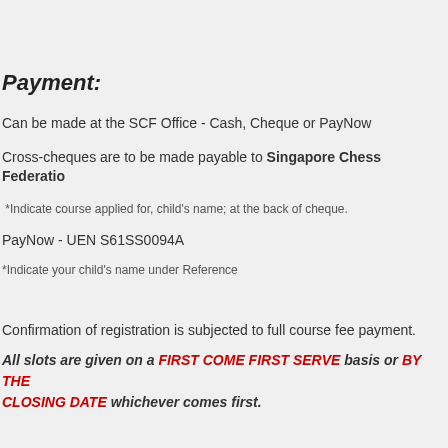Payment:
Can be made at the SCF Office - Cash, Cheque or PayNow
Cross-cheques are to be made payable to Singapore Chess Federation
*Indicate course applied for, child's name; at the back of cheque.
PayNow - UEN S61SS0094A
*Indicate your child’s name under Reference
Confirmation of registration is subjected to full course fee payment.
All slots are given on a FIRST COME FIRST SERVE basis or BY THE CLOSING DATE whichever comes first.